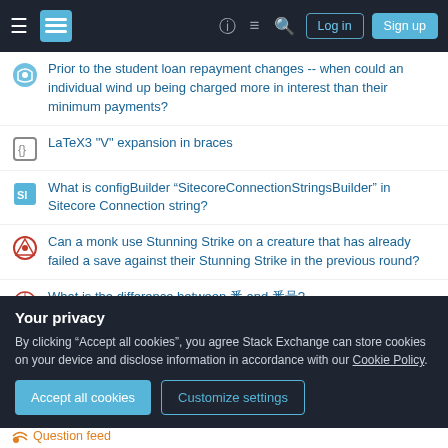Stack Exchange navigation bar with Log in and Sign up buttons
Prior to the student loan repayment changes -- when could an individual wind up being charged more in interest than their minimum payments?
LaTeX3 "V" expansion in braces
What is configBuilder “SitecoreConnectionStringsBuilder” in Sitecore Connection string?
Can a monk use Stunning Strike on a creature that has already failed a save against their Stunning Strike in the previous round?
What is the difference between 番 and 番号?
In the original Rogue Trader, there were female Space Marines right?
How effective are sanctions in overthrowing regimes?
Your privacy
By clicking “Accept all cookies”, you agree Stack Exchange can store cookies on your device and disclose information in accordance with our Cookie Policy.
Accept all cookies | Customize settings
Question feed